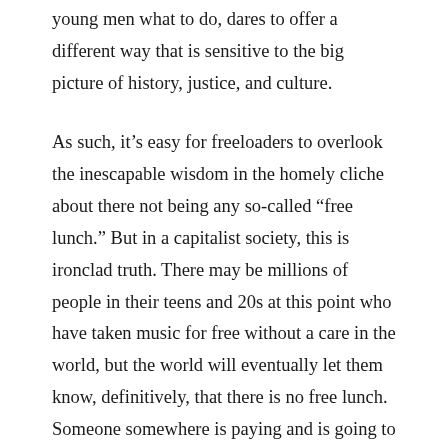young men what to do, dares to offer a different way that is sensitive to the big picture of history, justice, and culture.
As such, it's easy for freeloaders to overlook the inescapable wisdom in the homely cliche about there not being any so-called “free lunch.” But in a capitalist society, this is ironclad truth. There may be millions of people in their teens and 20s at this point who have taken music for free without a care in the world, but the world will eventually let them know, definitively, that there is no free lunch. Someone somewhere is paying and is going to keep paying for their taking for free what was not offered on the market for free, and the price will eventually be extracted from them, one way or another.
The payment may come via a severe reduction in the